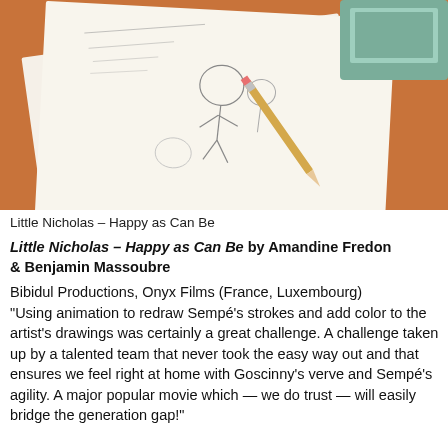[Figure (illustration): Film still or animation frame showing papers with sketched cartoon illustrations and handwritten notes on an orange/brown table, with a pencil and green object in background.]
Little Nicholas – Happy as Can Be
Little Nicholas – Happy as Can Be by Amandine Fredon & Benjamin Massoubre
Bibidul Productions, Onyx Films (France, Luxembourg) "Using animation to redraw Sempé's strokes and add color to the artist's drawings was certainly a great challenge. A challenge taken up by a talented team that never took the easy way out and that ensures we feel right at home with Goscinny's verve and Sempé's agility. A major popular movie which — we do trust — will easily bridge the generation gap!"